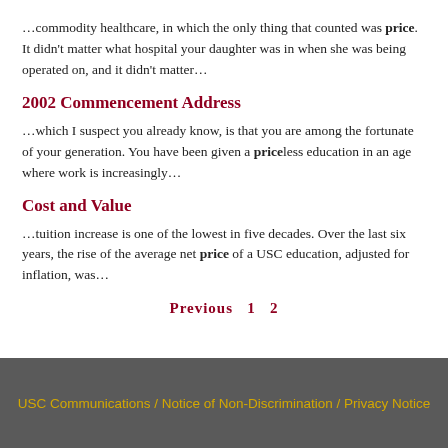…commodity healthcare, in which the only thing that counted was price. It didn't matter what hospital your daughter was in when she was being operated on, and it didn't matter…
2002 Commencement Address
…which I suspect you already know, is that you are among the fortunate of your generation. You have been given a priceless education in an age where work is increasingly…
Cost and Value
…tuition increase is one of the lowest in five decades. Over the last six years, the rise of the average net price of a USC education, adjusted for inflation, was…
Previous  1  2
USC Communications / Notice of Non-Discrimination / Privacy Notice